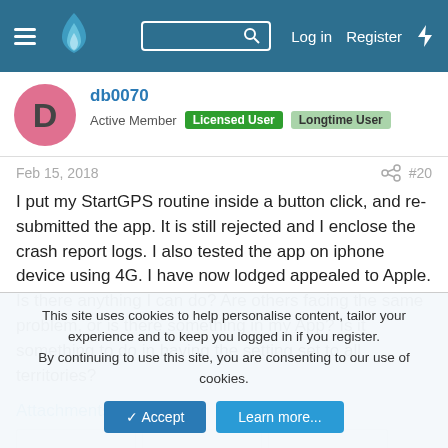GitLab forum header with navigation: hamburger menu, flame logo, search box, Log in, Register, bolt icon
db0070
Active Member  Licensed User  Longtime User
Feb 15, 2018  #20
I put my StartGPS routine inside a button click, and re-submitted the app. It is still rejected and I enclose the crash report logs. I also tested the app on iphone device using 4G. I have now lodged appealed to Apple. Is there anything I can do? Are others facing the same problem, or is there something in my App? Is it something to do in having the setting set to all territories?
Attachments
This site uses cookies to help personalise content, tailor your experience and to keep you logged in if you register.
By continuing to use this site, you are consenting to our use of cookies.